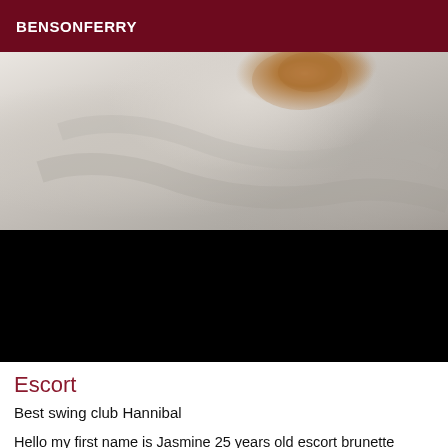BENSONFERRY
[Figure (photo): Close-up photo of a cat's fur, mostly white/grey with a patch of orange/brown. The lower portion of the image is blacked out.]
Escort
Best swing club Hannibal
Hello my first name is Jasmine 25 years old escort brunette mestizo brown dark eyes. I have a professional